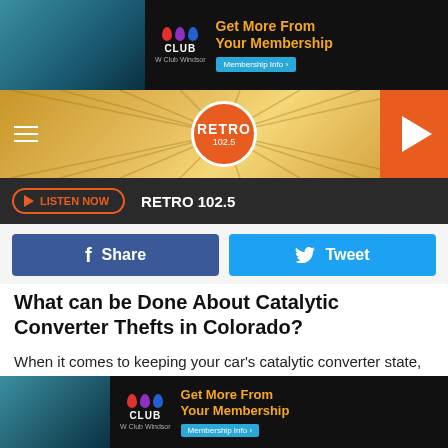[Figure (photo): W Club Windsor advertisement banner at top of page]
[Figure (logo): Retro 102.5 radio station header with sunburst design and hamburger menu and play button]
LISTEN NOW ▶  RETRO 102.5
Share
Tweet
What can be Done About Catalytic Converter Thefts in Colorado?
When it comes to keeping your car's catalytic converter state, it's always a good idea to park in a well-lit area that has frequent people passing by. Sometimes, that is not an ideal situation. Victims have had their fair share of thefts
[Figure (photo): W Club Windsor advertisement banner at bottom of page]